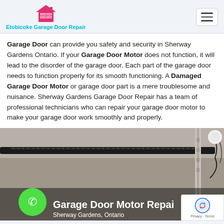Etobicoke Garage Door Repair
Garage Door can provide you safety and security in Sherway Gardens Ontario. If your Garage Door Motor does not function, it will lead to the disorder of the garage door. Each part of the garage door needs to function properly for its smooth functioning. A Damaged Garage Door Motor or garage door part is a mere troublesome and nuisance. Sherway Gardens Garage Door Repair has a team of professional technicians who can repair your garage door motor to make your garage door work smoothly and properly.
[Figure (photo): Garage door motor mechanism installed on ceiling with a red motor unit visible. Green phone button overlay in lower left. Text overlay reads 'Garage Door Motor Repair' and 'Sherway Gardens, Ontario'.]